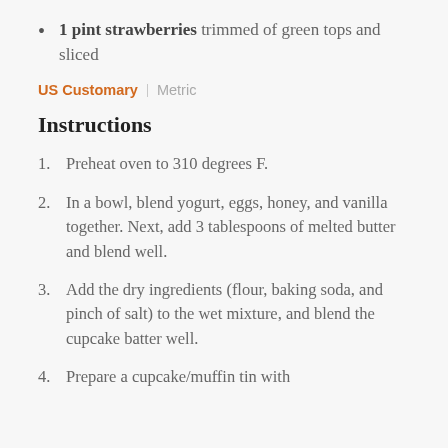1 pint strawberries trimmed of green tops and sliced
US Customary | Metric
Instructions
1. Preheat oven to 310 degrees F.
2. In a bowl, blend yogurt, eggs, honey, and vanilla together. Next, add 3 tablespoons of melted butter and blend well.
3. Add the dry ingredients (flour, baking soda, and pinch of salt) to the wet mixture, and blend the cupcake batter well.
4. Prepare a cupcake/muffin tin with